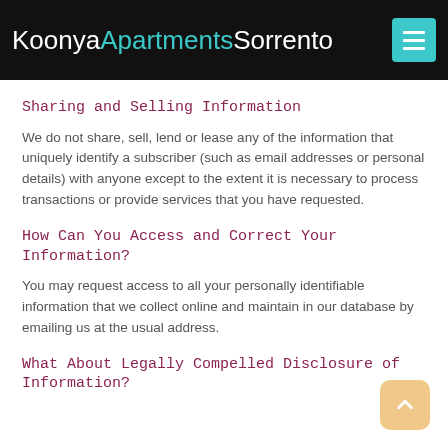Koonya Apartments Sorrento
Sharing and Selling Information
We do not share, sell, lend or lease any of the information that uniquely identify a subscriber (such as email addresses or personal details) with anyone except to the extent it is necessary to process transactions or provide services that you have requested.
How Can You Access and Correct Your Information?
You may request access to all your personally identifiable information that we collect online and maintain in our database by emailing us at the usual address.
What About Legally Compelled Disclosure of Information?